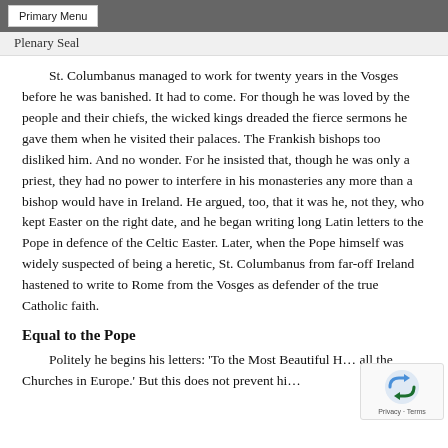Primary Menu
Plenary Seal
St. Columbanus managed to work for twenty years in the Vosges before he was banished. It had to come. For though he was loved by the people and their chiefs, the wicked kings dreaded the fierce sermons he gave them when he visited their palaces. The Frankish bishops too disliked him. And no wonder. For he insisted that, though he was only a priest, they had no power to interfere in his monasteries any more than a bishop would have in Ireland. He argued, too, that it was he, not they, who kept Easter on the right date, and he began writing long Latin letters to the Pope in defence of the Celtic Easter. Later, when the Pope himself was widely suspected of being a heretic, St. Columbanus from far-off Ireland hastened to write to Rome from the Vosges as defender of the true Catholic faith.
Equal to the Pope
Politely he begins his letters: 'To the Most Beautiful H… all the Churches in Europe.' But this does not prevent hi…